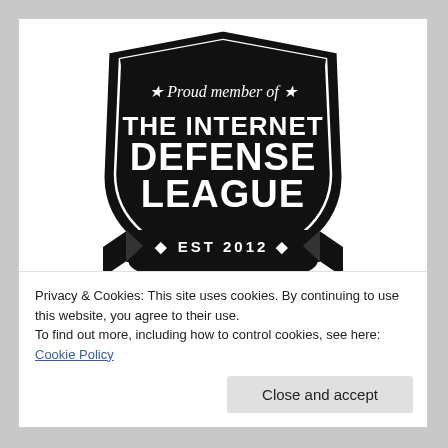[Figure (logo): Internet Defense League badge/shield logo in black and white. Shield shape with text: star star 'Proud member of' star star, 'THE INTERNET DEFENSE LEAGUE', '• EST 2012 •'. Banner ribbon at bottom.]
Privacy & Cookies: This site uses cookies. By continuing to use this website, you agree to their use.
To find out more, including how to control cookies, see here: Cookie Policy
Close and accept